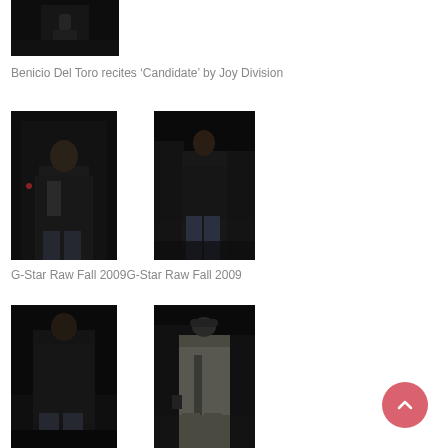[Figure (photo): Dark fashion/performance photo, single figure on dark background, cropped at top]
Benicio Del Toro recites ‘Candidate’ by Joy Division
[Figure (photo): Fashion runway photo of male model in black leather jacket and jeans, dark background]
[Figure (photo): Fashion runway photo of female model walking in black jacket and jeans, dark background]
G-Star Raw Fall 2009G-Star Raw Fall 2009
[Figure (photo): Fashion runway photo of female model in dark jacket, dark background]
[Figure (photo): Fashion runway photo of male model in grey/olive outfit, dark background]